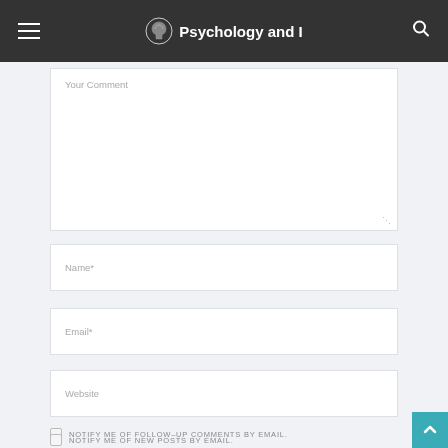Psychology and I
Your Comment
Name*
Email*
Website
NOTIFY ME OF FOLLOW-UP COMMENTS BY EMAIL.
NOTIFY ME OF NEW POSTS BY EMAIL.